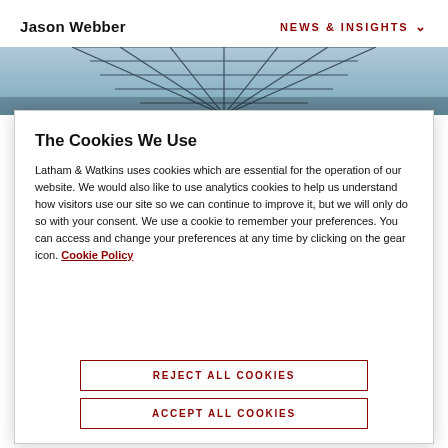Jason Webber   NEWS & INSIGHTS
[Figure (photo): Architectural steel structure viewed from below, blue-toned]
The Cookies We Use
Latham & Watkins uses cookies which are essential for the operation of our website. We would also like to use analytics cookies to help us understand how visitors use our site so we can continue to improve it, but we will only do so with your consent. We use a cookie to remember your preferences. You can access and change your preferences at any time by clicking on the gear icon. Cookie Policy
REJECT ALL COOKIES
ACCEPT ALL COOKIES